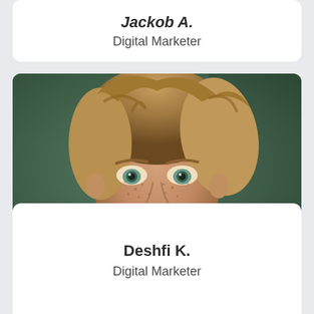Jackob A.
Digital Marketer
[Figure (photo): Close-up portrait photo of a young man with freckles, light brown/blonde wavy hair, and blue-green eyes, photographed against a blurred green background.]
Deshfi K.
Digital Marketer